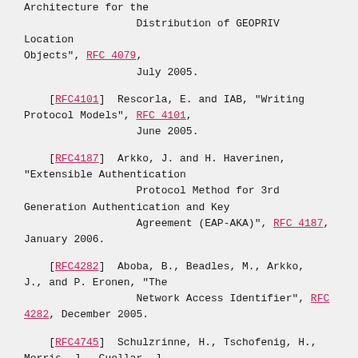[RFC4079] (continued) Architecture for the Distribution of GEOPRIV Location Objects", RFC 4079, July 2005.
[RFC4101]  Rescorla, E. and IAB, "Writing Protocol Models", RFC 4101, June 2005.
[RFC4187]  Arkko, J. and H. Haverinen, "Extensible Authentication Protocol Method for 3rd Generation Authentication and Key Agreement (EAP-AKA)", RFC 4187, January 2006.
[RFC4282]  Aboba, B., Beadles, M., Arkko, J., and P. Eronen, "The Network Access Identifier", RFC 4282, December 2005.
[RFC4745]  Schulzrinne, H., Tschofenig, H., Morris, J., Cuellar, J.,